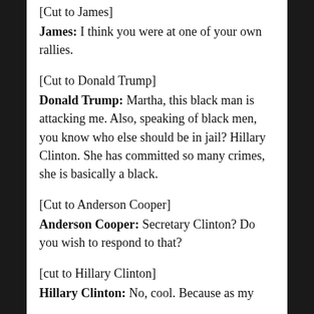[Cut to James]
James: I think you were at one of your own rallies.
[Cut to Donald Trump]
Donald Trump: Martha, this black man is attacking me. Also, speaking of black men, you know who else should be in jail? Hillary Clinton. She has committed so many crimes, she is basically a black.
[Cut to Anderson Cooper]
Anderson Cooper: Secretary Clinton? Do you wish to respond to that?
[cut to Hillary Clinton]
Hillary Clinton: No, cool. Because as my